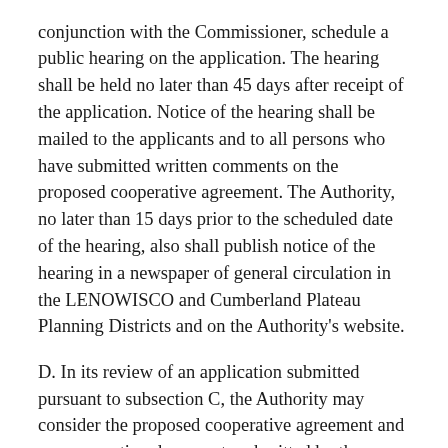conjunction with the Commissioner, schedule a public hearing on the application. The hearing shall be held no later than 45 days after receipt of the application. Notice of the hearing shall be mailed to the applicants and to all persons who have submitted written comments on the proposed cooperative agreement. The Authority, no later than 15 days prior to the scheduled date of the hearing, also shall publish notice of the hearing in a newspaper of general circulation in the LENOWISCO and Cumberland Plateau Planning Districts and on the Authority's website.
D. In its review of an application submitted pursuant to subsection C, the Authority may consider the proposed cooperative agreement and any supporting documents submitted by the applicants, any written comments submitted by any person, any written response by the applicants, and any written or oral comments submitted at the public hearing. The Authority shall review a proposed cooperative agreement in consideration of the